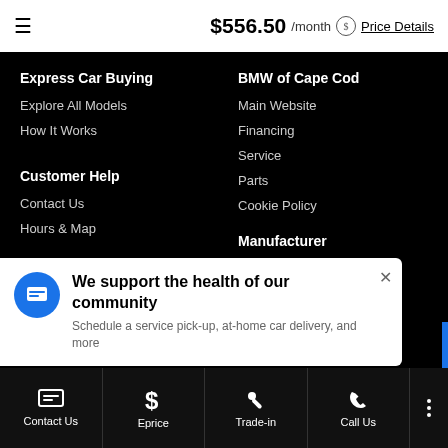$556.50 /month Price Details
Express Car Buying
Explore All Models
How It Works
BMW of Cape Cod
Main Website
Financing
Service
Parts
Cookie Policy
Customer Help
Contact Us
Hours & Map
Manufacturer
BMW
We support the health of our community
Schedule a service pick-up, at-home car delivery, and more
Contact Us | Eprice | Trade-in | Call Us